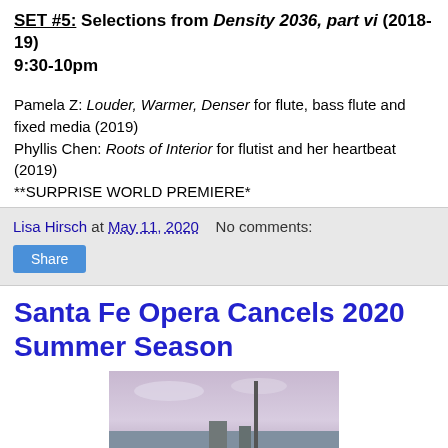SET #5: Selections from Density 2036, part vi (2018-19)
9:30-10pm
Pamela Z: Louder, Warmer, Denser for flute, bass flute and fixed media (2019)
Phyllis Chen: Roots of Interior for flutist and her heartbeat (2019)
**SURPRISE WORLD PREMIERE*
Lisa Hirsch at May 11, 2020   No comments:
Share
Santa Fe Opera Cancels 2020 Summer Season
[Figure (photo): Outdoor photo, likely of Santa Fe Opera venue, showing sky and a tall structure]